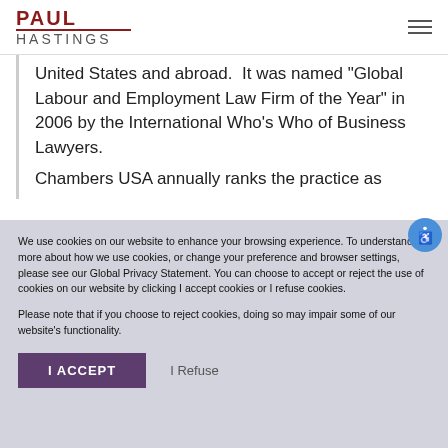PAUL HASTINGS
United States and abroad.  It was named "Global Labour and Employment Law Firm of the Year" in 2006 by the International Who's Who of Business Lawyers.
Chambers USA annually ranks the practice as
We use cookies on our website to enhance your browsing experience. To understand more about how we use cookies, or change your preference and browser settings, please see our Global Privacy Statement. You can choose to accept or reject the use of cookies on our website by clicking I accept cookies or I refuse cookies.

Please note that if you choose to reject cookies, doing so may impair some of our website’s functionality.